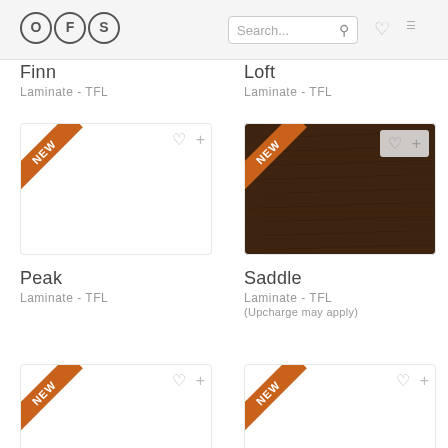[Figure (logo): OFS logo with three circular letter badges]
[Figure (screenshot): Search bar, heart icon, and menu icon in header]
Finn
Laminate - TFL
Loft
Laminate - TFL
[Figure (photo): Finn swatch - blank white swatch with NEW ribbon and action icons]
[Figure (photo): Loft swatch - blank white swatch with NEW ribbon and action icons]
Peak
Laminate - TFL
Saddle
Laminate - TFL
(Upcharge may apply)
[Figure (photo): Row 3 left swatch - blank white swatch with NEW ribbon and action icons]
[Figure (photo): Row 3 right swatch - blank white swatch with NEW ribbon and action icons]